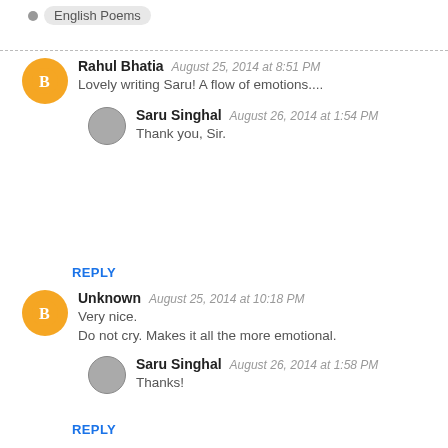English Poems
Rahul Bhatia   August 25, 2014 at 8:51 PM
Lovely writing Saru! A flow of emotions....
Saru Singhal   August 26, 2014 at 1:54 PM
Thank you, Sir.
REPLY
Unknown   August 25, 2014 at 10:18 PM
Very nice.
Do not cry. Makes it all the more emotional.
Saru Singhal   August 26, 2014 at 1:58 PM
Thanks!
REPLY